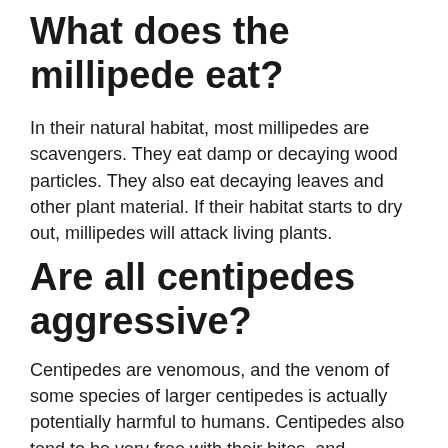What does the millipede eat?
In their natural habitat, most millipedes are scavengers. They eat damp or decaying wood particles. They also eat decaying leaves and other plant material. If their habitat starts to dry out, millipedes will attack living plants.
Are all centipedes aggressive?
Centipedes are venomous, and the venom of some species of larger centipedes is actually potentially harmful to humans. Centipedes also tend to be very free with their bites, and